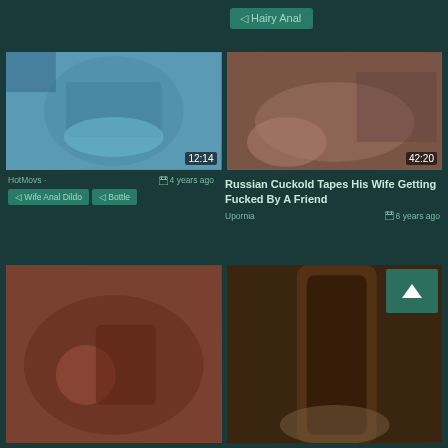Hairy Anal
[Figure (screenshot): Video thumbnail showing woman in blue stockings, duration 12:14]
HotMovs · 4 years ago
Wife Anal Dildo
Bottle
[Figure (screenshot): Video thumbnail of woman lying down, duration 42:20]
Russian Cuckold Tapes His Wife Getting Fucked By A Friend
Upornia · 6 years ago
[Figure (screenshot): Video thumbnail close-up, bottom left]
[Figure (screenshot): Video thumbnail close-up with scroll-to-top button, bottom right]